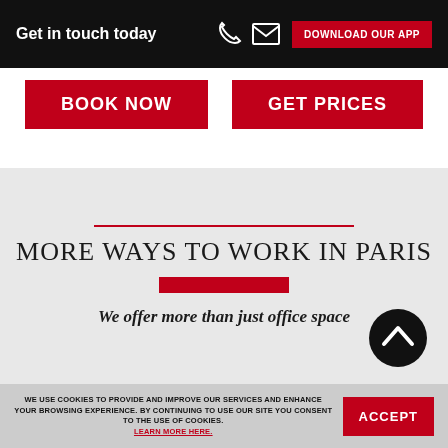Get in touch today | DOWNLOAD OUR APP
BOOK NOW
GET PRICES
MORE WAYS TO WORK IN PARIS
We offer more than just office space
WE USE COOKIES TO PROVIDE AND IMPROVE OUR SERVICES AND ENHANCE YOUR BROWSING EXPERIENCE. BY CONTINUING TO USE OUR SITE YOU CONSENT TO THE USE OF COOKIES. LEARN MORE HERE.
ACCEPT